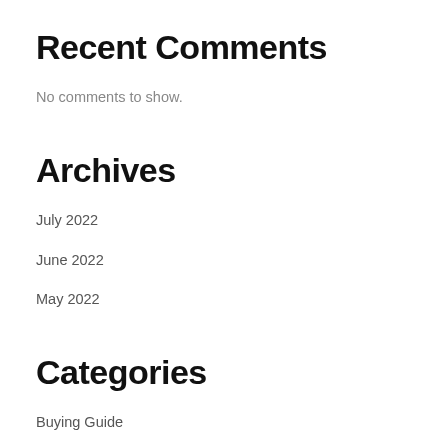Recent Comments
No comments to show.
Archives
July 2022
June 2022
May 2022
Categories
Buying Guide